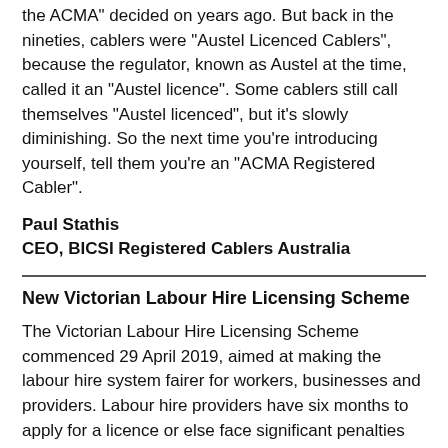the ACMA” decided on years ago. But back in the nineties, cablers were “Austel Licenced Cablers”, because the regulator, known as Austel at the time, called it an “Austel licence”. Some cablers still call themselves “Austel licenced”, but it’s slowly diminishing. So the next time you’re introducing yourself, tell them you’re an “ACMA Registered Cabler”.
Paul Stathis
CEO, BICSI Registered Cablers Australia
New Victorian Labour Hire Licensing Scheme
The Victorian Labour Hire Licensing Scheme commenced 29 April 2019, aimed at making the labour hire system fairer for workers, businesses and providers. Labour hire providers have six months to apply for a licence or else face significant penalties